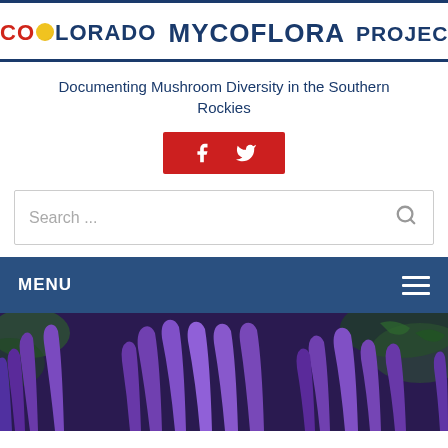[Figure (logo): Colorado Mycoflora Project logo with mushroom icon and Colorado flag dot]
Documenting Mushroom Diversity in the Southern Rockies
[Figure (infographic): Red button with Facebook and Twitter social media icons]
Search ...
MENU
[Figure (photo): Close-up photo of purple coral mushrooms (Clavaria or similar) growing in forest setting]